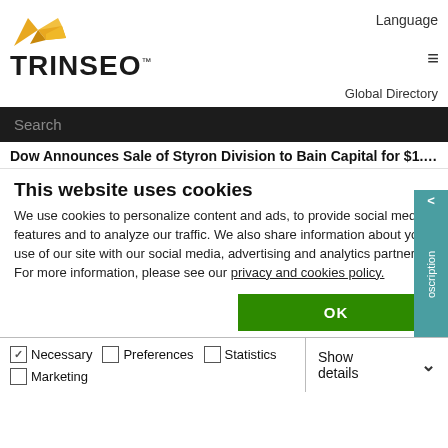[Figure (logo): Trinseo company logo with orange/yellow arrow-star icon above the company name in bold black text]
Language
Global Directory
Search
oscription
Dow Announces Sale of Styron Division to Bain Capital for $1.63
This website uses cookies
We use cookies to personalize content and ads, to provide social media features and to analyze our traffic. We also share information about your use of our site with our social media, advertising and analytics partners. For more information, please see our privacy and cookies policy.
OK
Necessary   Preferences   Statistics   Marketing   Show details